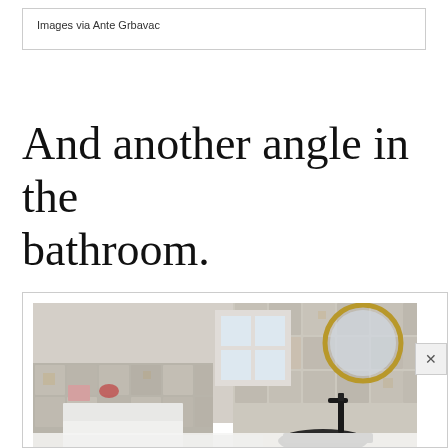Images via Ante Grbavac
And another angle in the bathroom.
[Figure (photo): Bathroom interior showing decorative patterned tile walls, a round gold-framed mirror, a black vessel sink with a black faucet, a window letting in natural light, and a white vanity area. Taken from an angled perspective showing two walls of the bathroom.]